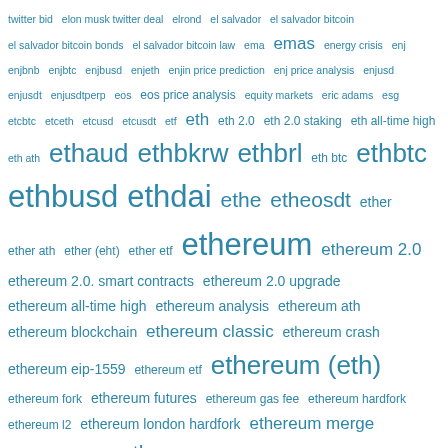[Figure (other): Tag cloud of cryptocurrency and blockchain related terms in varying font sizes, all in teal/blue color. Terms include ethereum, eth, ethereum price analysis, ethereum price prediction, ethereum (eth), ethbtc, ethbusd, ethdai, and many more related crypto terms.]